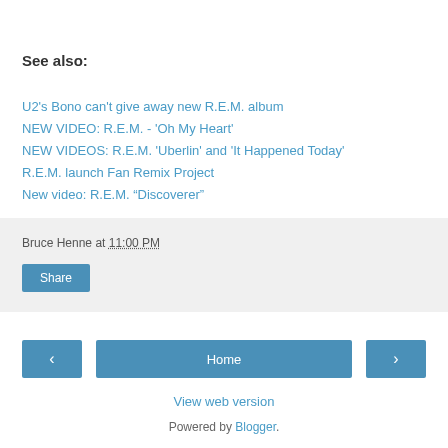See also:
U2's Bono can't give away new R.E.M. album
NEW VIDEO: R.E.M. - 'Oh My Heart'
NEW VIDEOS: R.E.M. 'Uberlin' and 'It Happened Today'
R.E.M. launch Fan Remix Project
New video: R.E.M. “Discoverer”
Bruce Henne at 11:00 PM
Share
Home
View web version
Powered by Blogger.